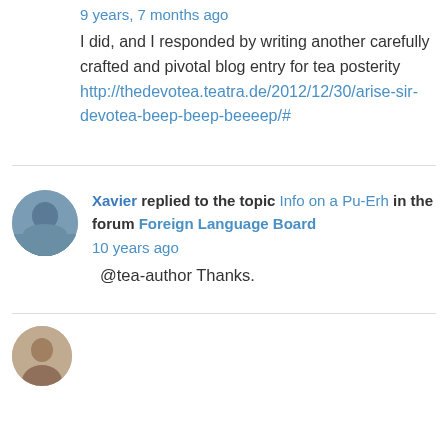9 years, 7 months ago
I did, and I responded by writing another carefully crafted and pivotal blog entry for tea posterity http://thedevotea.teatra.de/2012/12/30/arise-sir-devotea-beep-beep-beeeep/#
Xavier replied to the topic Info on a Pu-Erh in the forum Foreign Language Board
10 years ago
@tea-author Thanks.